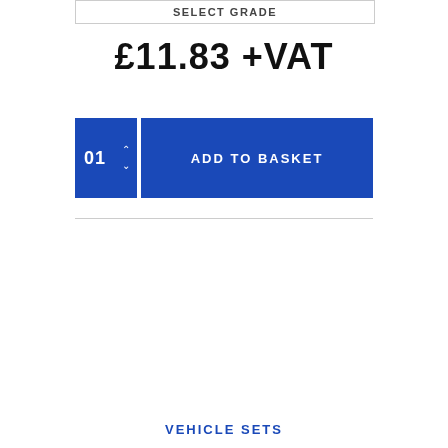SELECT GRADE
£11.83 +VAT
01
ADD TO BASKET
VEHICLE SETS